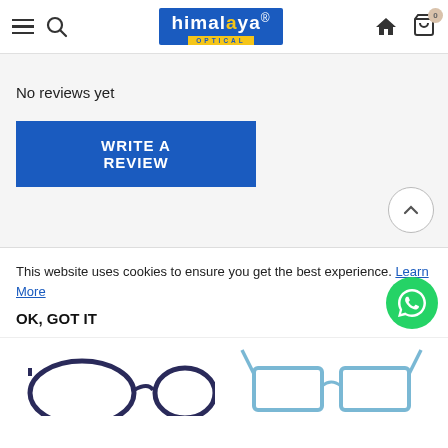himalaya OPTICAL — navigation header with menu, search, logo, home, cart (0)
No reviews yet
WRITE A REVIEW
This website uses cookies to ensure you get the best experience. Learn More
OK, GOT IT
[Figure (screenshot): Two pairs of eyeglasses partially visible at the bottom of the page — left pair is dark navy round frames, right pair is light blue rectangular frames]
[Figure (logo): WhatsApp green circular button with phone handset icon]